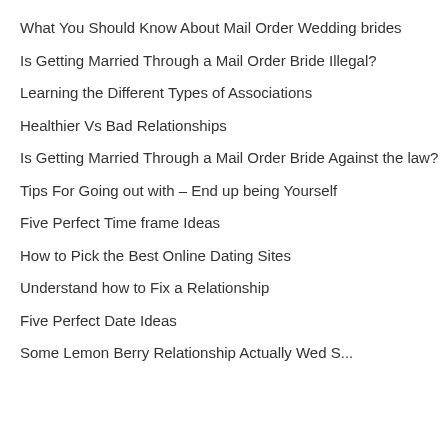What You Should Know About Mail Order Wedding brides
Is Getting Married Through a Mail Order Bride Illegal?
Learning the Different Types of Associations
Healthier Vs Bad Relationships
Is Getting Married Through a Mail Order Bride Against the law?
Tips For Going out with – End up being Yourself
Five Perfect Time frame Ideas
How to Pick the Best Online Dating Sites
Understand how to Fix a Relationship
Five Perfect Date Ideas
Some Lemon Berry Relationship Actually Wed S...